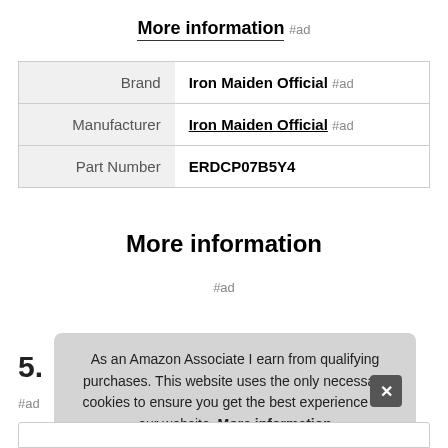More information #ad
|  |  |
| --- | --- |
| Brand | Iron Maiden Official #ad |
| Manufacturer | Iron Maiden Official #ad |
| Part Number | ERDCP07B5Y4 |
More information #ad
5.
As an Amazon Associate I earn from qualifying purchases. This website uses the only necessary cookies to ensure you get the best experience on our website. More information